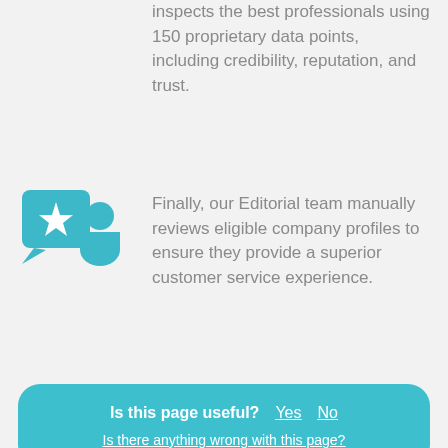inspects the best professionals using 150 proprietary data points, including credibility, reputation, and trust.
[Figure (illustration): Teal icon of a speech bubble with a star and a person silhouette]
Finally, our Editorial team manually reviews eligible company profiles to ensure they provide a superior customer service experience.
Is this page useful?  Yes  No
Is there anything wrong with this page?
Brakes: Repair and